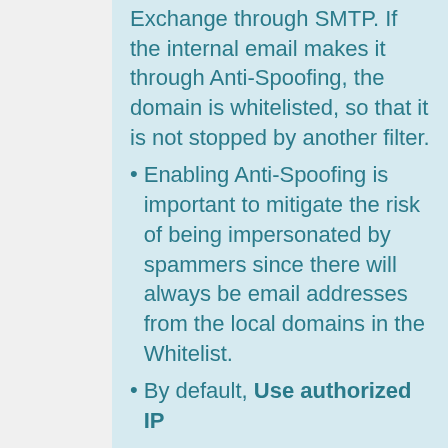Exchange through SMTP. If the internal email makes it through Anti-Spoofing, the domain is whitelisted, so that it is not stopped by another filter.
Enabling Anti-Spoofing is important to mitigate the risk of being impersonated by spammers since there will always be email addresses from the local domains in the Whitelist.
By default, Use authorized IP